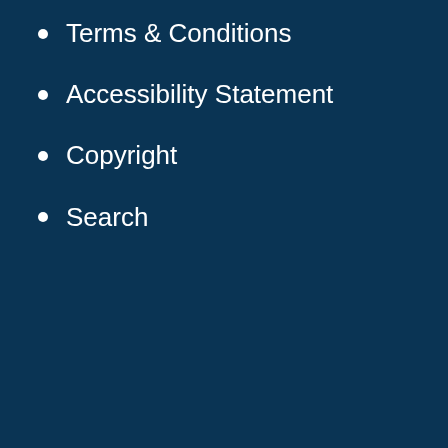Terms & Conditions
Accessibility Statement
Copyright
Search